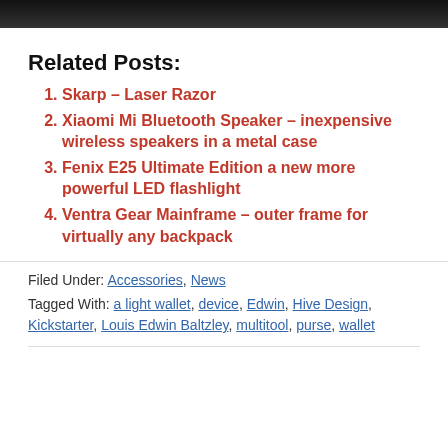[Figure (photo): Dark/black top image strip at the top of the page]
Related Posts:
Skarp – Laser Razor
Xiaomi Mi Bluetooth Speaker – inexpensive wireless speakers in a metal case
Fenix E25 Ultimate Edition a new more powerful LED flashlight
Ventra Gear Mainframe – outer frame for virtually any backpack
Filed Under: Accessories, News
Tagged With: a light wallet, device, Edwin, Hive Design, Kickstarter, Louis Edwin Baltzley, multitool, purse, wallet